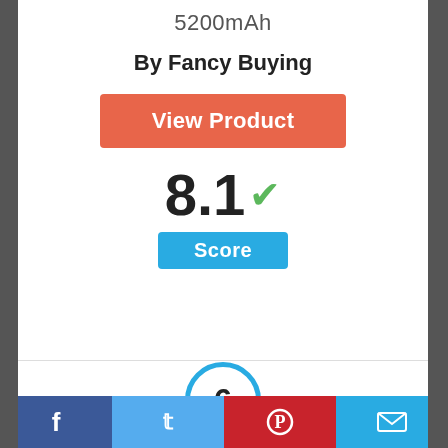5200mAh
By Fancy Buying
View Product
8.1 ✓
Score
6
Facebook | Twitter | Pinterest | Email